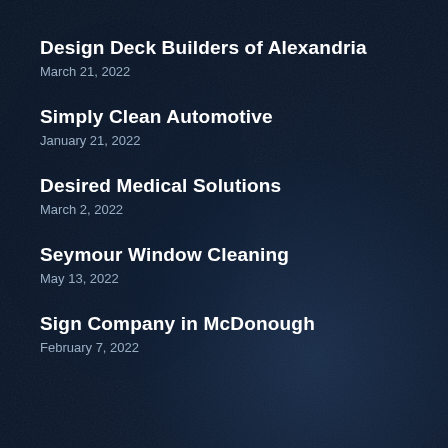Design Deck Builders of Alexandria
March 21, 2022
Simply Clean Automotive
January 21, 2022
Desired Medical Solutions
March 2, 2022
Seymour Window Cleaning
May 13, 2022
Sign Company in McDonough
February 7, 2022